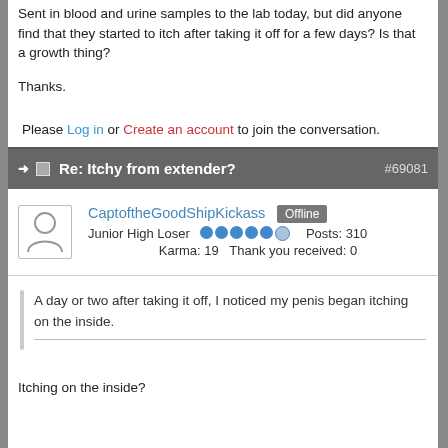Sent in blood and urine samples to the lab today, but did anyone find that they started to itch after taking it off for a few days? Is that a growth thing?
Thanks.
Please Log in or Create an account to join the conversation.
Re: Itchy from extender? #69081
CaptoftheGoodShipKickass  Offline  Junior High Loser  Posts: 310  Karma: 19  Thank you received: 0
A day or two after taking it off, I noticed my penis began itching on the inside.
Itching on the inside?